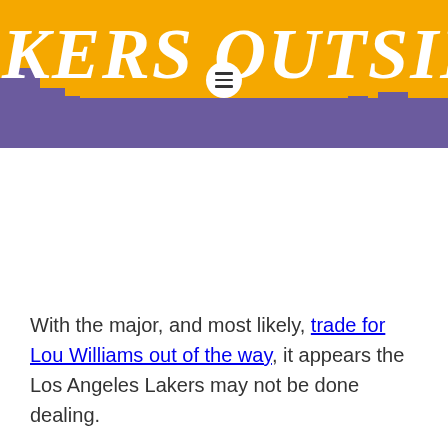[Figure (illustration): Lakers Outside website header banner with gold background, purple city skyline silhouette, white bold italic text reading 'KERS OUTSIDE' (partially cropped), and a circular menu icon with three horizontal lines in the center]
With the major, and most likely, trade for Lou Williams out of the way, it appears the Los Angeles Lakers may not be done dealing.